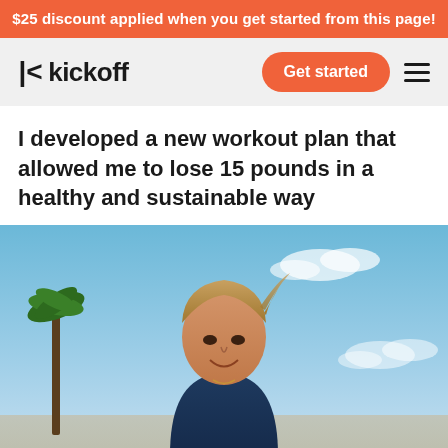$25 discount applied when you get started from this page!
[Figure (logo): Kickoff logo with stylized K icon and wordmark 'kickoff']
I developed a new workout plan that allowed me to lose 15 pounds in a healthy and sustainable way
[Figure (photo): Young man with light brown hair smiling outdoors with blue sky, clouds, and palm tree in background]